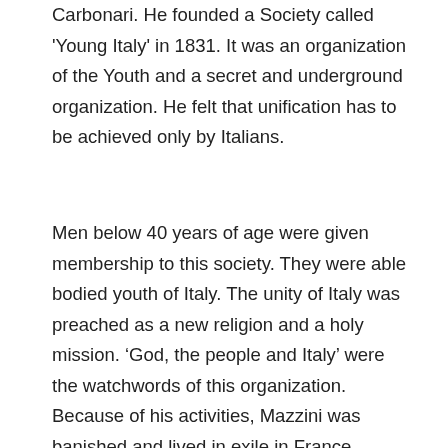Carbonari. He founded a Society called 'Young Italy' in 1831. It was an organization of the Youth and a secret and underground organization. He felt that unification has to be achieved only by Italians.
Men below 40 years of age were given membership to this society. They were able bodied youth of Italy. The unity of Italy was preached as a new religion and a holy mission. 'God, the people and Italy' were the watchwords of this organization. Because of his activities, Mazzini was banished and lived in exile in France, Switzerland, and England and guided the movement from outside.
Mazzini's influence was such that in 1848, well organized revolts were seen in Italy. People of Lombardy, Parma, Modena, and Tuscany rose in revolt against their rulers. Since there was no unity among them, they were easily put down by Austria and France, Charles Albert, the King of Italy led the national movement and drove put Austria from Lombardy. But this success was short lived. The Austrians defeated the Sardinian army. Disappointed